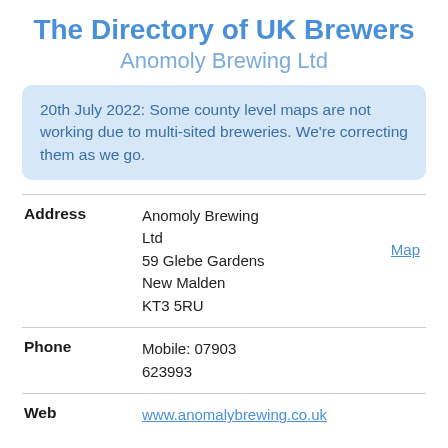The Directory of UK Brewers
Anomoly Brewing Ltd
20th July 2022: Some county level maps are not working due to multi-sited breweries. We're correcting them as we go.
| Address | Anomoly Brewing Ltd
59 Glebe Gardens
New Malden
KT3 5RU | Map |
| Phone | Mobile: 07903 623993 |  |
| Web | www.anomalybrewing.co.uk |  |